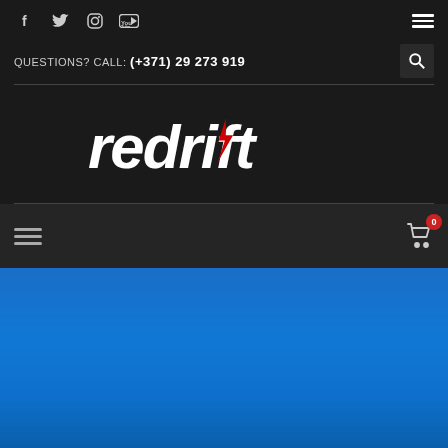[Figure (logo): Website header with social media icons (Facebook, Twitter, Instagram, YouTube), hamburger menu, contact phone number, search button, Redrift logo, navigation bar with hamburger and cart (0 items), and blue gradient section below]
QUESTIONS? CALL: (+371) 29 273 919
[Figure (logo): Redrift logo in white italic lettering with red lightning bolt accent]
0